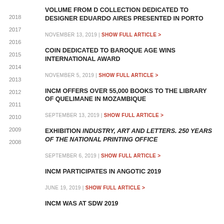2018
2017
2016
2015
2014
2013
2012
2011
2010
2009
2008
VOLUME FROM D COLLECTION DEDICATED TO DESIGNER EDUARDO AIRES PRESENTED IN PORTO
NOVEMBER 13, 2019 | SHOW FULL ARTICLE >
COIN DEDICATED TO BAROQUE AGE WINS INTERNATIONAL AWARD
NOVEMBER 5, 2019 | SHOW FULL ARTICLE >
INCM OFFERS OVER 55,000 BOOKS TO THE LIBRARY OF QUELIMANE IN MOZAMBIQUE
SEPTEMBER 13, 2019 | SHOW FULL ARTICLE >
EXHIBITION INDUSTRY, ART AND LETTERS. 250 YEARS OF THE NATIONAL PRINTING OFFICE
SEPTEMBER 6, 2019 | SHOW FULL ARTICLE >
INCM PARTICIPATES IN ANGOTIC 2019
JUNE 19, 2019 | SHOW FULL ARTICLE >
INCM WAS AT SDW 2019